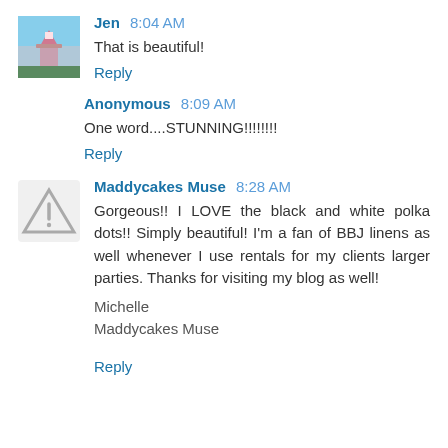[Figure (photo): User avatar for Jen - small square photo showing a pink lighthouse or similar structure]
Jen 8:04 AM
That is beautiful!
Reply
Anonymous 8:09 AM
One word....STUNNING!!!!!!!!
Reply
[Figure (other): Warning/alert triangle icon used as avatar placeholder for Maddycakes Muse]
Maddycakes Muse 8:28 AM
Gorgeous!! I LOVE the black and white polka dots!! Simply beautiful! I'm a fan of BBJ linens as well whenever I use rentals for my clients larger parties. Thanks for visiting my blog as well!

Michelle
Maddycakes Muse
Reply